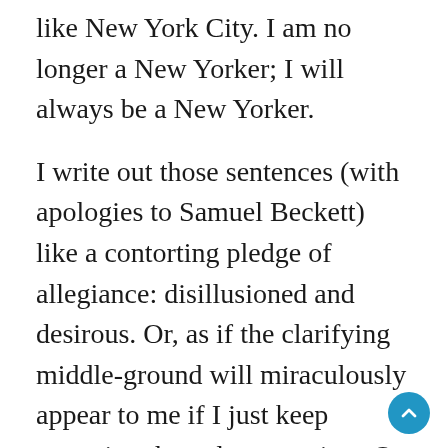like New York City. I am no longer a New Yorker; I will always be a New Yorker.
I write out those sentences (with apologies to Samuel Beckett) like a contorting pledge of allegiance: disillusioned and desirous. Or, as if the clarifying middle-ground will miraculously appear to me if I just keep repeating the polar opposites. Or because there is no middle ground but repetition could lead to a more complex form of understanding than mere acceptance.